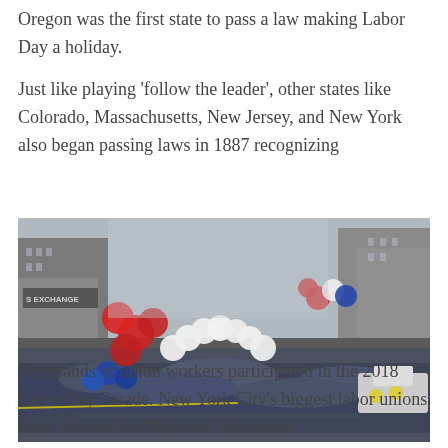Oregon was the first state to pass a law making Labor Day a holiday.

Just like playing 'follow the leader', other states like Colorado, Massachusetts, New Jersey, and New York also began passing laws in 1887 recognizing
[Figure (photo): A large crowd of union workers at the 2018 Labor Day Parade marching down a street in Midtown Manhattan. Red, white, and blue balloons and balloon arches are visible in the foreground. Tall city buildings line both sides of the street.]
Thousands of union workers participated in the 2018 Labor Day Parade. New York City's biggest labor unions came flooded the Midtown Manhattan